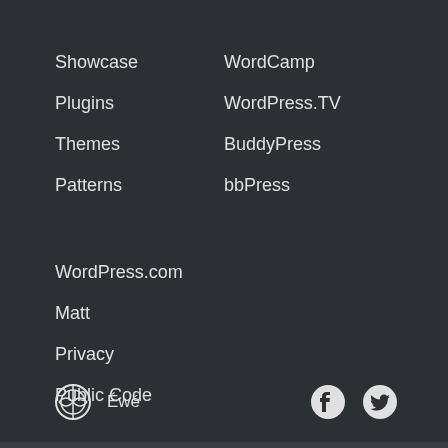Showcase
Plugins
Themes
Patterns
WordCamp
WordPress.TV
BuddyPress
bbPress
WordPress.com
Matt
Privacy
Public Code
Éwé